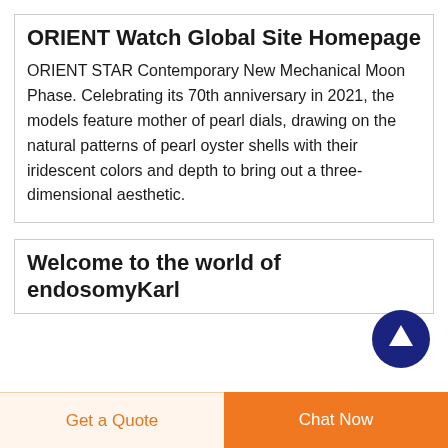ORIENT Watch Global Site Homepage
ORIENT STAR Contemporary New Mechanical Moon Phase. Celebrating its 70th anniversary in 2021, the models feature mother of pearl dials, drawing on the natural patterns of pearl oyster shells with their iridescent colors and depth to bring out a three-dimensional aesthetic.
[Figure (other): Dark navy blue circular button with white upward arrow icon (scroll-to-top button)]
Welcome to the world of endosomyKarl